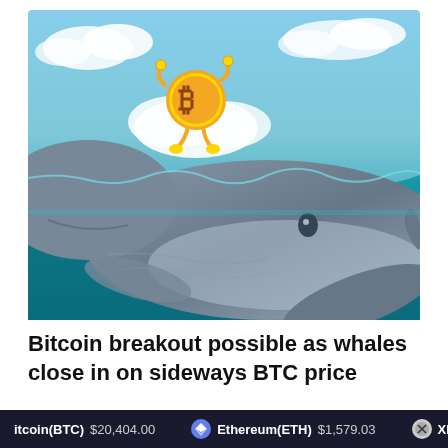[Figure (illustration): Illustration of a large blue whale underwater with a cartoon Bitcoin character (gold B symbol with arms and legs) floating above the water surface on a cloud, against a teal sky with clouds.]
Bitcoin breakout possible as whales close in on sideways BTC price
Bitcoin(BTC) $20,404.00   Ethereum(ETH) $1,579.03   XRP(XRP...